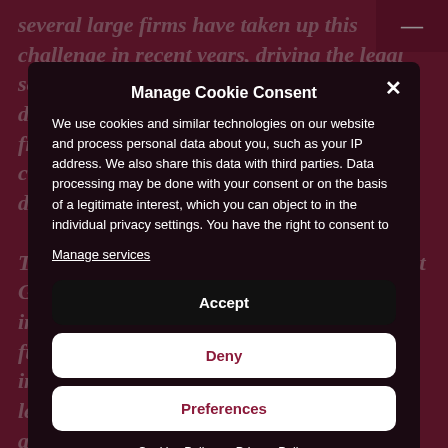several large firms have taken up this challenge in recent years, driving the legal sector's transformation. Moreover, development. AI has gained ground in the field, helping to improve decision-making capabilities and allowing access to more diverse business models.
This upward trend was confirmed in a recent Gartner study which forecused continued integration throughout the field in the near future. The study showed that although investments in technology throughout the legal sector increased 3% between 2017 and 2020 (from 2.6% to 3.6%), that number is expected to experience rapidly growing (10)...
Manage Cookie Consent
We use cookies and similar technologies on our website and process personal data about you, such as your IP address. We also share this data with third parties. Data processing may be done with your consent or on the basis of a legitimate interest, which you can object to in the individual privacy settings. You have the right to consent to
Manage services
Accept
Deny
Preferences
Cookies Policy   Privacy Policy